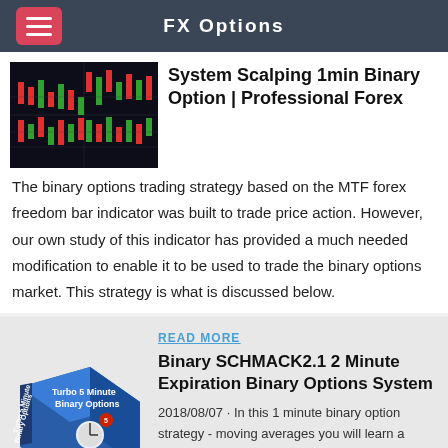FX Options
[Figure (screenshot): Trading chart screenshot showing forex candlestick charts with green and red price action]
System Scalping 1min Binary Option | Professional Forex
The binary options trading strategy based on the MTF forex freedom bar indicator was built to trade price action. However, our own study of this indicator has provided a much needed modification to enable it to be used to trade the binary options market. This strategy is what is discussed below.
READ MORE
[Figure (illustration): Product box image for Turbo 5 Minute Binary Options - 5 Minute Trading Bliss]
Binary SCHMACK2.1 2 Minute Expiration Binary Options System
2018/08/07 · In this 1 minute binary option strategy - moving averages you will learn a simply binary options trading technique